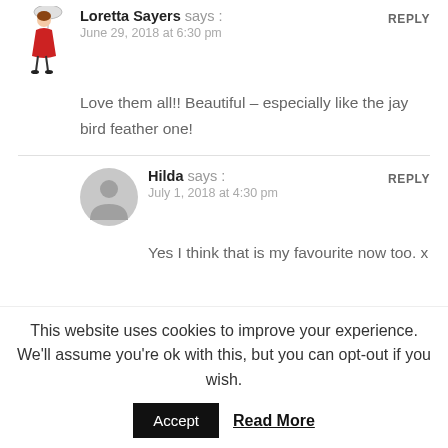[Figure (illustration): Avatar of Loretta Sayers - illustrated woman in red dress]
Loretta Sayers says :
June 29, 2018 at 6:30 pm
REPLY
Love them all!! Beautiful – especially like the jay bird feather one!
[Figure (illustration): Generic gray avatar circle for Hilda]
Hilda says :
July 1, 2018 at 4:30 pm
REPLY
Yes I think that is my favourite now too. x
This website uses cookies to improve your experience. We'll assume you're ok with this, but you can opt-out if you wish.
Accept
Read More